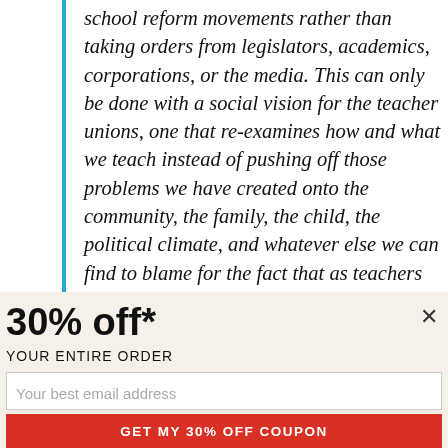school reform movements rather than taking orders from legislators, academics, corporations, or the media. This can only be done with a social vision for the teacher unions, one that re-examines how and what we teach instead of pushing off those problems we have created onto the community, the family, the child, the political climate, and whatever else we can find to blame for the fact that as teachers
30% off*
YOUR ENTIRE ORDER
Your best email address
GET MY 30% OFF COUPON